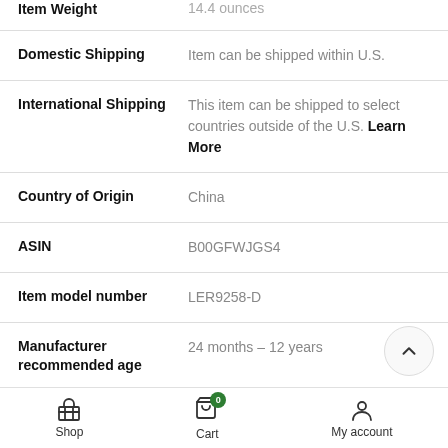| Attribute | Value |
| --- | --- |
| Item Weight | 14.4 ounces |
| Domestic Shipping | Item can be shipped within U.S. |
| International Shipping | This item can be shipped to select countries outside of the U.S. Learn More |
| Country of Origin | China |
| ASIN | B00GFWJGS4 |
| Item model number | LER9258-D |
| Manufacturer recommended age | 24 months – 12 years |
Shop | Cart | My account